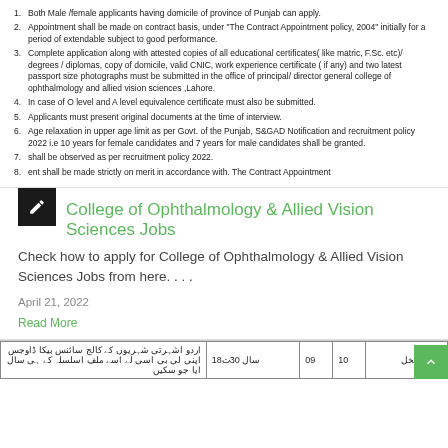Both Male /female applicants having domicile of province of Punjab can apply.
Appointment shall be made on contract basis, under "The Contract Appointment policy, 2004" initially for a period of extendable subject to good performance.
Complete application along with attested copies of all educational certificates( like matric, F.Sc. etc)/ degrees / diplomas, copy of domicile, valid CNIC, work experience certificate ( if any) and two latest passport size photographs must be submitted in the office of principal/ director general college of ophthalmology and allied vision sciences ,Lahore.
In case of O level and A level equivalence certificate must also be submitted.
Applicants must present original documents at the time of interview.
Age relaxation in upper age limit as per Govt. of the Punjab, S&GAD Notification and recruitment policy 2022 i.e 10 years for female candidates and 7 years for male candidates shall be granted.
shall be observed as per recruitment policy 2022.
ent shall be made strictly on merit in accordance with. The Contract Appointment
College of Ophthalmology & Allied Vision Sciences Jobs
Check how to apply for College of Ophthalmology & Allied Vision Sciences Jobs from here. . . .
April 21, 2022
Read More
|  | سال 30ت18 | 09 | 10 | لیفابستخل |
| --- | --- | --- | --- | --- |
| اردو اشہرتی شہریوں کے کالج سائنس بیکا ڈاوجس | سال 30ت18 | 09 | 10 | لیفابستخل |
| اپنی لی بی اسی لے اسے ملف اسلسلہ کے ہی سال ایا جو سکیں |  |  |  |  |